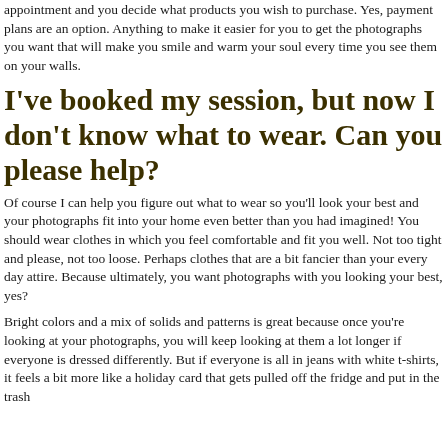appointment and you decide what products you wish to purchase. Yes, payment plans are an option. Anything to make it easier for you to get the photographs you want that will make you smile and warm your soul every time you see them on your walls.
I've booked my session, but now I don't know what to wear. Can you please help?
Of course I can help you figure out what to wear so you'll look your best and your photographs fit into your home even better than you had imagined! You should wear clothes in which you feel comfortable and fit you well. Not too tight and please, not too loose. Perhaps clothes that are a bit fancier than your every day attire. Because ultimately, you want photographs with you looking your best, yes?
Bright colors and a mix of solids and patterns is great because once you're looking at your photographs, you will keep looking at them a lot longer if everyone is dressed differently. But if everyone is all in jeans with white t-shirts, it feels a bit more like a holiday card that gets pulled off the fridge and put in the trash